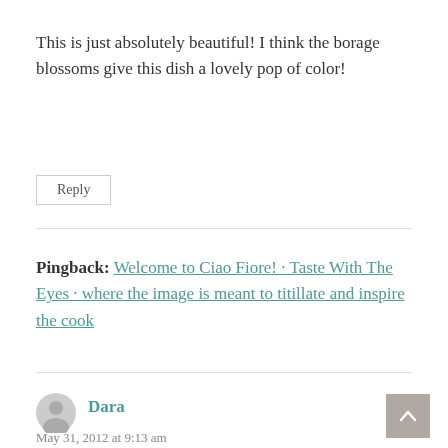This is just absolutely beautiful! I think the borage blossoms give this dish a lovely pop of color!
Reply
Pingback: Welcome to Ciao Fiore! · Taste With The Eyes · where the image is meant to titillate and inspire the cook
Dara
May 31, 2012 at 9:13 am